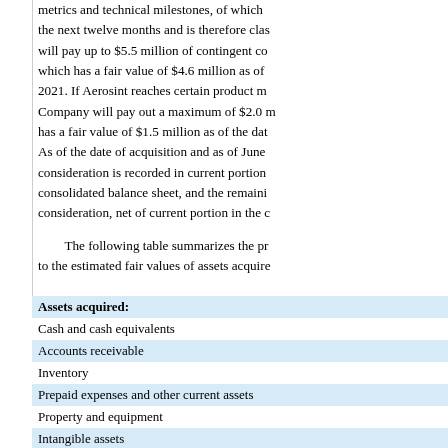metrics and technical milestones, of which the next twelve months and is therefore classified will pay up to $5.5 million of contingent consideration which has a fair value of $4.6 million as of 2021. If Aerosint reaches certain product metrics, Company will pay out a maximum of $2.0 million which has a fair value of $1.5 million as of the date. As of the date of acquisition and as of June consideration is recorded in current portion of consolidated balance sheet, and the remaining consideration, net of current portion in the c
The following table summarizes the preliminary allocation to the estimated fair values of assets acquired
|  |  |
| --- | --- |
| Assets acquired: |  |
| Cash and cash equivalents |  |
| Accounts receivable |  |
| Inventory |  |
| Prepaid expenses and other current assets |  |
| Property and equipment |  |
| Intangible assets |  |
| Other noncurrent assets |  |
| Total assets acquired |  |
| Liabilities assumed: |  |
| Accounts payable |  |
| Customer deposits |  |